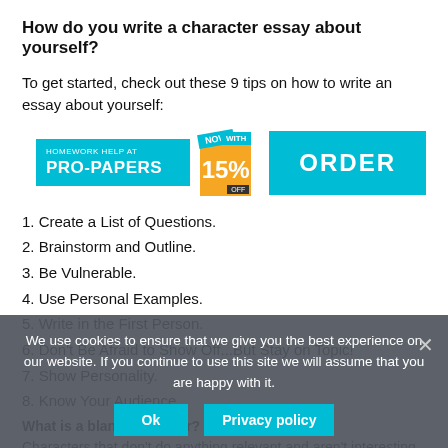How do you write a character essay about yourself?
To get started, check out these 9 tips on how to write an essay about yourself:
[Figure (infographic): Pro-Papers advertisement banner with teal background, 'NOW WITH 15% OFF' badge, and ORDER button]
1. Create a List of Questions.
2. Brainstorm and Outline.
3. Be Vulnerable.
4. Use Personal Examples.
5. Write in the First Person.
6. Don't Be Afraid to Show Off...But Stay on Topic!
7. Show Personality.
8. Know Your Audience.
What is a bland character?
Characters that don't do anything relevant and aren't interesting, be it because of their personality revolving
We use cookies to ensure that we give you the best experience on our website. If you continue to use this site we will assume that you are happy with it.